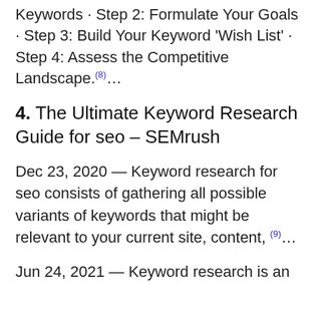Keywords · Step 2: Formulate Your Goals · Step 3: Build Your Keyword 'Wish List' · Step 4: Assess the Competitive Landscape.(8)…
4. The Ultimate Keyword Research Guide for seo – SEMrush
Dec 23, 2020 — Keyword research for seo consists of gathering all possible variants of keywords that might be relevant to your current site, content, (9)…
Jun 24, 2021 — Keyword research is an